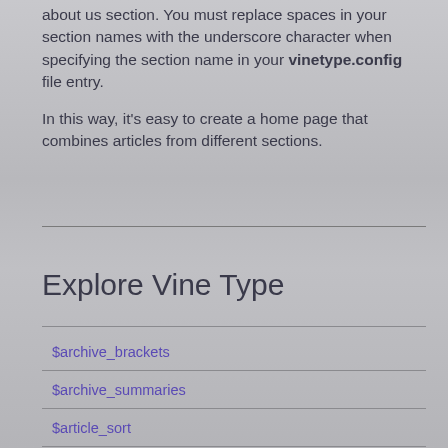about us section. You must replace spaces in your section names with the underscore character when specifying the section name in your vinetype.config file entry.
In this way, it's easy to create a home page that combines articles from different sections.
Explore Vine Type
$archive_brackets
$archive_summaries
$article_sort